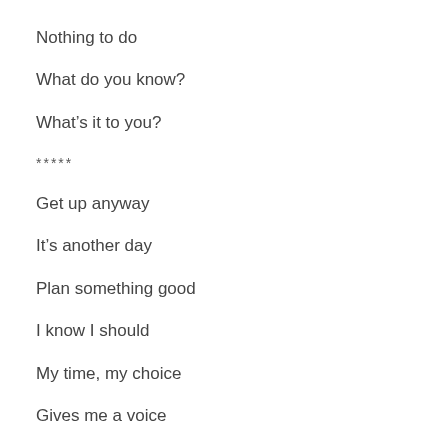Nothing to do
What do you know?
What’s it to you?
*****
Get up anyway
It’s another day
Plan something good
I know I should
My time, my choice
Gives me a voice